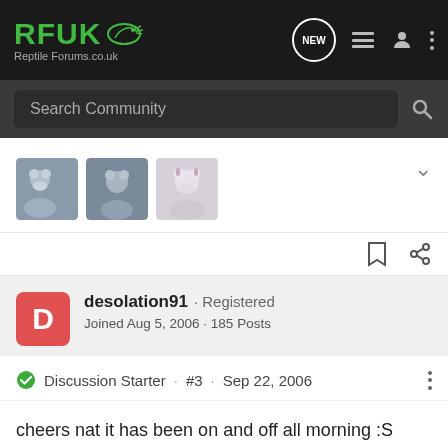RFUK ReptileForums.co.uk
Search Community
[Figure (photo): Three thumbnail images of cats/pets in a row]
desolation91 · Registered
Joined Aug 5, 2006 · 185 Posts
Discussion Starter · #3 · Sep 22, 2006
cheers nat it has been on and off all morning :S whonder witch it could be i have fed them so i dont think its that